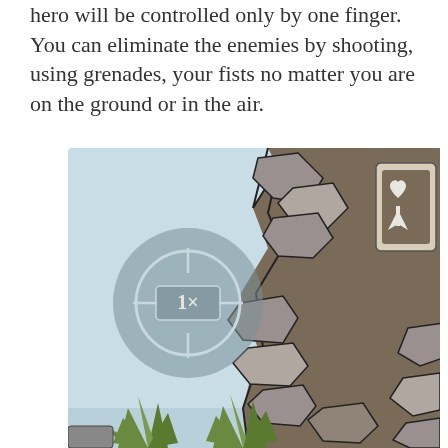hero will be controlled only by one finger. You can eliminate the enemies by shooting, using grenades, your fists no matter you are on the ground or in the air.
[Figure (illustration): Game screenshot showing a cartoon-style side-scrolling game scene. On the left side is a light blue sky background with a circular crosshair/scope UI element showing '1x'. On the right is a rocky cliff face rendered in brown and grey tones with angular stone shapes. In the upper right corner is a UI card showing a heart icon and a character icon. At the bottom are green spiky plant/grass illustrations.]